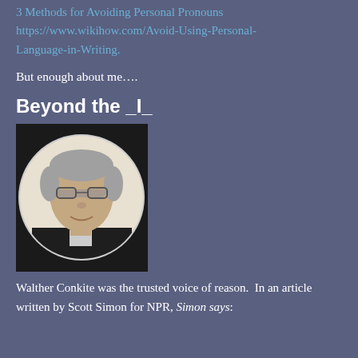3 Methods for Avoiding Personal Pronouns https://www.wikihow.com/Avoid-Using-Personal-Language-in-Writing.
But enough about me….
Beyond the _I_
[Figure (photo): Circular portrait photo of an older man with gray hair and glasses, wearing a dark jacket, against a light background.]
Walther Conkite was the trusted voice of reason.  In an article written by Scott Simon for NPR, Simon says: